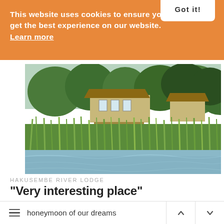This website uses cookies to ensure you get the best experience on our website. Learn more
Got it!
[Figure (photo): Hakusembe River Lodge viewed from across the river, showing a thatched-roof building surrounded by lush green reeds and trees, with calm water in the foreground.]
HAKUSEMBE RIVER LODGE
"Very interesting place"
1 NIGHT   ARRIVED 25 NOV 2016
honeymoon of our dreams